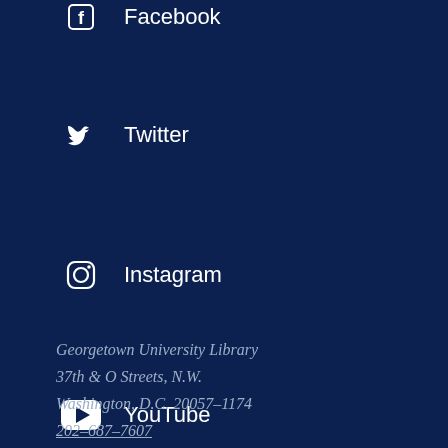Facebook
Twitter
Instagram
YouTube
Georgetown University Library
37th & O Streets, N.W.
Washington, D.C. 20057-1174
202-687-7607